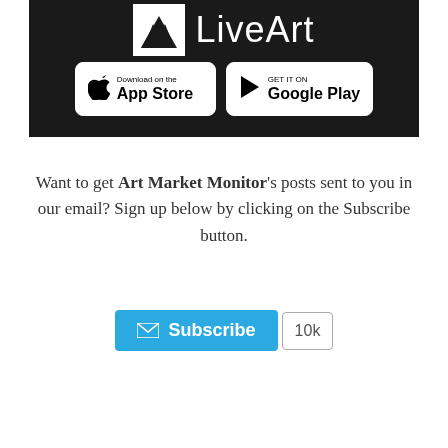[Figure (logo): LiveArt app promotional banner on dark background showing the LiveArt logo with mountain/M icon, plus App Store and Google Play download buttons]
Want to get Art Market Monitor's posts sent to you in our email? Sign up below by clicking on the Subscribe button.
[Figure (other): Subscribe button (blue) with envelope icon and '10k' subscriber count badge]